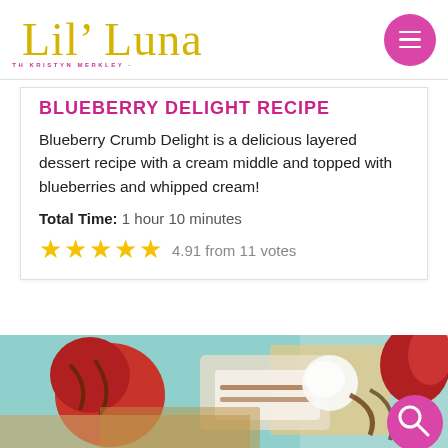Lil' Luna · WITH KRISTYN MERKLEY
BLUEBERRY DELIGHT RECIPE
Blueberry Crumb Delight is a delicious layered dessert recipe with a cream middle and topped with blueberries and whipped cream!
Total Time: 1 hour 10 minutes
4.91 from 11 votes
[Figure (photo): Close-up photo of chocolate-dipped strawberries and dessert items on sticks with a light teal/mint background, with a pink search button overlay in the bottom right corner.]